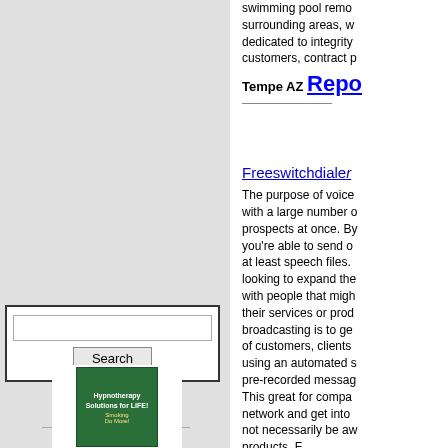swimming pool removal surrounding areas, we are dedicated to integrity customers, contract p
Tempe AZ Repor...
Freeswitchdiale...
The purpose of voice with a large number of prospects at once. By you're able to send o at least speech files. looking to expand the with people that migh their services or prod broadcasting is to ge of customers, clients using an automated s pre-recorded messag This great for compa network and get into not necessarily be aw products. F
Nationwide US Re...
Seven Hills Dent...
Seven Hills Dentistry's health in our Dallas G personalized general under one roof. Seve